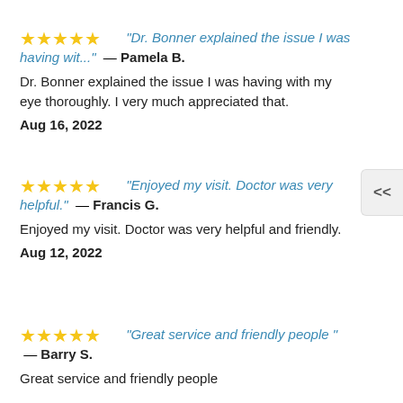⭐⭐⭐⭐⭐ "Dr. Bonner explained the issue I was having wit..." — Pamela B.
Dr. Bonner explained the issue I was having with my eye thoroughly. I very much appreciated that.
Aug 16, 2022
⭐⭐⭐⭐⭐ "Enjoyed my visit. Doctor was very helpful." — Francis G.
Enjoyed my visit. Doctor was very helpful and friendly.
Aug 12, 2022
⭐⭐⭐⭐⭐ "Great service and friendly people " — Barry S.
Great service and friendly people